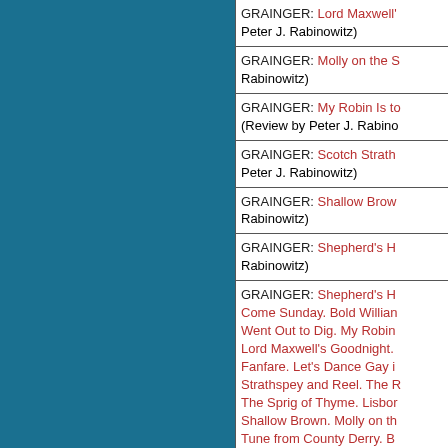| GRAINGER: Lord Maxwell's Goodnight. (Review by Peter J. Rabinowitz) |
| GRAINGER: Molly on the Shore. (Review by Peter J. Rabinowitz) |
| GRAINGER: My Robin Is to the Greenwood Gone. (Review by Peter J. Rabinowitz) |
| GRAINGER: Scotch Strathspey and Reel. (Review by Peter J. Rabinowitz) |
| GRAINGER: Shallow Brown. (Review by Peter J. Rabinowitz) |
| GRAINGER: Shepherd's Hey. (Review by Peter J. Rabinowitz) |
| GRAINGER: Shepherd's Hey. Come Sunday. Bold William Taylor. The Man Went Out to Dig. My Robin Is to the Greenwood Gone. Lord Maxwell's Goodnight. Lisbon. Fanfare. Let's Dance Gay in Green Meadow. Scotch Strathspey and Reel. The Rival Brothers. O Gin I Were Where Gadie Rins. The Sprig of Thyme. Lisbon. Knight and Shepherd's Daughter. Shallow Brown. Molly on the Shore. Died for Love. Tune from County Derry. Bell Piece. One More Day, My John. Under a Bridge. Dollar and a Half a Day. Scotch Strathspey and Reel. The King. 6 Dukes Went A-fishing. The Pretty Maid Milkin' Her Cow. She's Like the Swallow. Died for Love. Country Gardens. We Have Fed Our Sea for a Thousand Years. The Hunter in His Career. There Was a Pig. (Review by Peter J. Rabinowitz) |